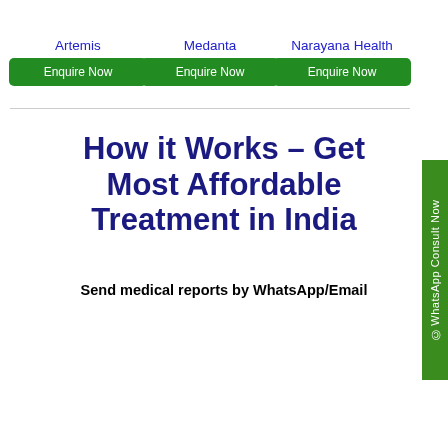Artemis
Enquire Now
Medanta
Enquire Now
Narayana Health
Enquire Now
How it Works – Get Most Affordable Treatment in India
Send medical reports by WhatsApp/Email